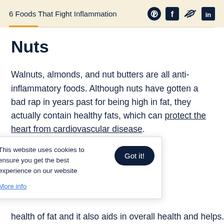6 Foods That Fight Inflammation
Nuts
Walnuts, almonds, and nut butters are all anti-inflammatory foods. Although nuts have gotten a bad rap in years past for being high in fat, they actually contain healthy fats, which can protect the heart from cardiovascular disease.
This website uses cookies to ensure you get the best experience on our website
More info
...st amount of ...orts brain ...protects the ...health of fat and it also aids in overall health and helps...